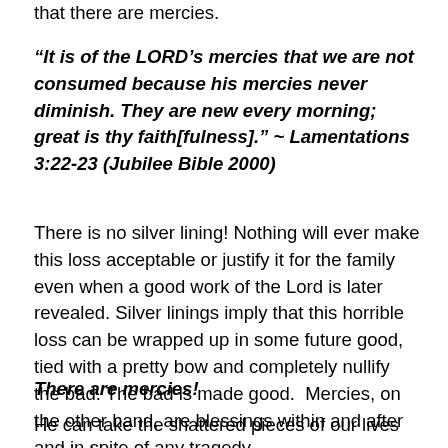that there are mercies.
“It is of the LORD’s mercies that we are not consumed because his mercies never diminish. They are new every morning; great is thy faith[fulness].” ~ Lamentations 3:22-23 (Jubilee Bible 2000)
There is no silver lining! Nothing will ever make this loss acceptable or justify it for the family even when a good work of the Lord is later revealed. Silver linings imply that this horrible loss can be wrapped up in some future good, tied with a pretty bow and completely nullify the bad. The bad is made good.  Mercies, on the other hand, are blessings within and after and in spite of any tragedy.
There are mercies!
He can take the shattered pieces of our lives and in time